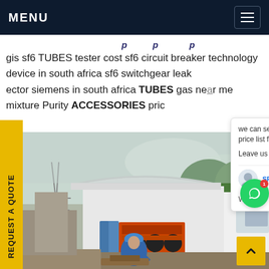MENU
gis sf6 TUBES tester cost sf6 circuit breaker technology device in south africa sf6 switchgear leak ector siemens in south africa TUBES gas near me mixture Purity ACCESSORIES pric
[Figure (photo): Worker in blue hard hat and overalls standing beside a white truck with industrial SF6 gas handling equipment loaded in the back, outdoors at an industrial site with trees and a power tower in background.]
we can send you catalogue and price list for you choosing.
Leave us your email or whatsapp .

SF6 Expert   just now
Write a